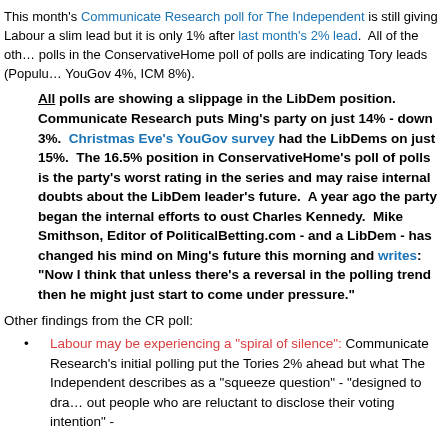This month's Communicate Research poll for The Independent is still giving Labour a slim lead but it is only 1% after last month's 2% lead. All of the other polls in the ConservativeHome poll of polls are indicating Tory leads (Populus, YouGov 4%, ICM 8%).
All polls are showing a slippage in the LibDem position. Communicate Research puts Ming's party on just 14% - down 3%. Christmas Eve's YouGov survey had the LibDems on just 15%. The 16.5% position in ConservativeHome's poll of polls is the party's worst rating in the series and may raise internal doubts about the LibDem leader's future. A year ago the party began the internal efforts to oust Charles Kennedy. Mike Smithson, Editor of PoliticalBetting.com - and a LibDem - has changed his mind on Ming's future this morning and writes: "Now I think that unless there's a reversal in the polling trend then he might just start to come under pressure."
Other findings from the CR poll:
Labour may be experiencing a "spiral of silence": Communicate Research's initial polling put the Tories 2% ahead but what The Independent describes as a "squeeze question" - "designed to draw out people who are reluctant to disclose their voting intention" -